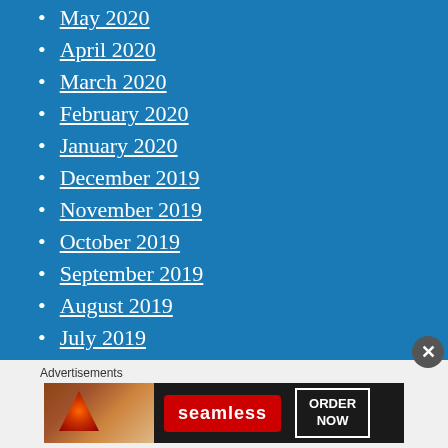May 2020
April 2020
March 2020
February 2020
January 2020
December 2019
November 2019
October 2019
September 2019
August 2019
July 2019
March 2019
January 2019
Advertisements
[Figure (screenshot): Seamless food delivery advertisement banner showing pizza and ORDER NOW button]